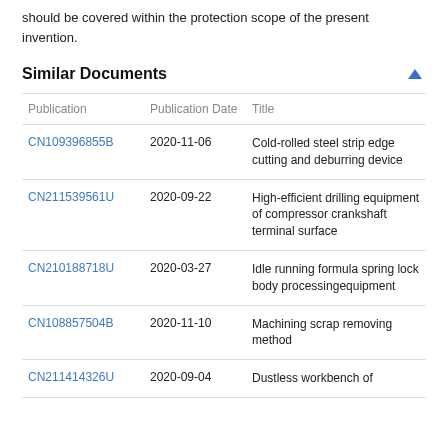should be covered within the protection scope of the present invention.
Similar Documents
| Publication | Publication Date | Title |
| --- | --- | --- |
| CN109396855B | 2020-11-06 | Cold-rolled steel strip edge cutting and deburring device |
| CN211539561U | 2020-09-22 | High-efficient drilling equipment of compressor crankshaft terminal surface |
| CN210188718U | 2020-03-27 | Idle running formula spring lock body processingequipment |
| CN108857504B | 2020-11-10 | Machining scrap removing method |
| CN211414326U | 2020-09-04 | Dustless workbench of |